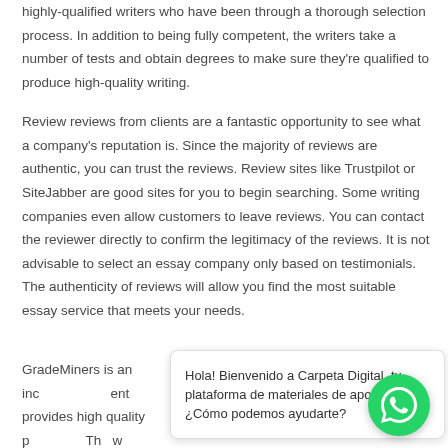highly-qualified writers who have been through a thorough selection process. In addition to being fully competent, the writers take a number of tests and obtain degrees to make sure they're qualified to produce high-quality writing.
Review reviews from clients are a fantastic opportunity to see what a company's reputation is. Since the majority of reviews are authentic, you can trust the reviews. Review sites like Trustpilot or SiteJabber are good sites for you to begin searching. Some writing companies even allow customers to leave reviews. You can contact the reviewer directly to confirm the legitimacy of the reviews. It is not advisable to select an essay company only based on testimonials. The authenticity of reviews will allow you find the most suitable essay service that meets your needs.
GradeMiners is an inc ... ent provides high quality p ... Th ... w what their customers r ...
[Figure (other): WhatsApp chat popup with message: 'Hola! Bienvenido a Carpeta Digital, tu plataforma de materiales de apoyo online ¿Cómo podemos ayudarte?' and a green WhatsApp button icon]